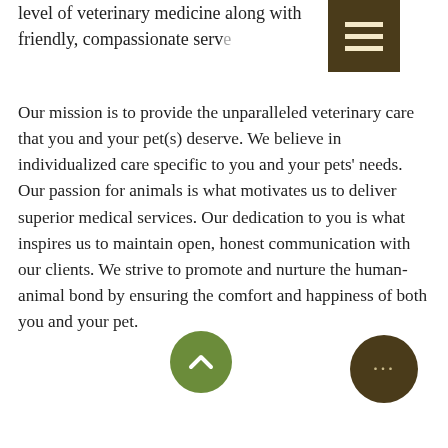level of veterinary medicine along with friendly, compassionate serv...
[Figure (other): Dark brown hamburger menu icon with three horizontal lines on brown background]
Our mission is to provide the unparalleled veterinary care that you and your pet(s) deserve. We believe in individualized care specific to you and your pets' needs. Our passion for animals is what motivates us to deliver superior medical services. Our dedication to you is what inspires us to maintain open, honest communication with our clients. We strive to promote and nurture the human-animal bond by ensuring the comfort and happiness of both you and your pet.
"We're proud to serve Paulding County & Dallas and Acworth Cities"
Office Hours
Monday - Friday:
7:00 a.m. to 6:00 p.m.
Saturday:
9:00 a.m. to 4:00 p.m.
Special Hours: We will be closed 1-2pm on the 4th of every month for a staff meeting
[Figure (other): Green circular up/chevron button]
[Figure (other): Dark brown circular more/ellipsis button]